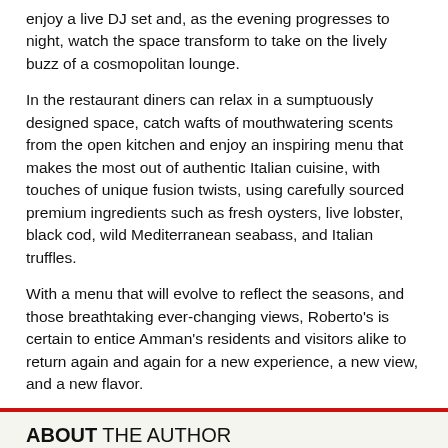enjoy a live DJ set and, as the evening progresses to night, watch the space transform to take on the lively buzz of a cosmopolitan lounge.
In the restaurant diners can relax in a sumptuously designed space, catch wafts of mouthwatering scents from the open kitchen and enjoy an inspiring menu that makes the most out of authentic Italian cuisine, with touches of unique fusion twists, using carefully sourced premium ingredients such as fresh oysters, live lobster, black cod, wild Mediterranean seabass, and Italian truffles.
With a menu that will evolve to reflect the seasons, and those breathtaking ever-changing views, Roberto's is certain to entice Amman's residents and visitors alike to return again and again for a new experience, a new view, and a new flavor.
Tags: THE RITZ-CARLTON HOTEL  ROBERTO'S
ABOUT THE AUTHOR